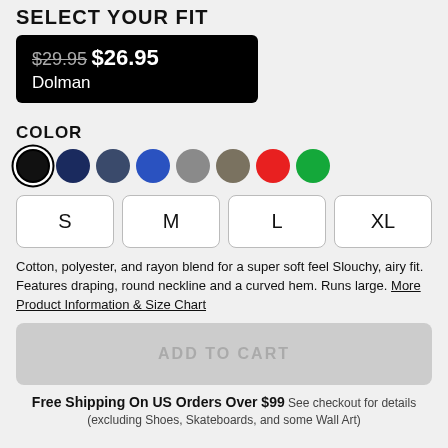SELECT YOUR FIT
$29.95 $26.95 Dolman
COLOR
Color swatches: black (selected), navy, dark slate blue, blue, gray, olive/tan, red, green
S | M | L | XL
Cotton, polyester, and rayon blend for a super soft feel Slouchy, airy fit. Features draping, round neckline and a curved hem. Runs large. More Product Information & Size Chart
ADD TO CART
Free Shipping On US Orders Over $99 See checkout for details (excluding Shoes, Skateboards, and some Wall Art)